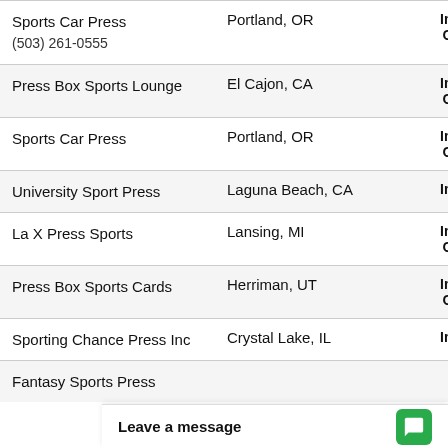| Name | Location | Details |
| --- | --- | --- |
| Sports Car Press
(503) 261-0555 | Portland, OR | Industry:
Officers: |
| Press Box Sports Lounge | El Cajon, CA | Industry:
Officers: |
| Sports Car Press | Portland, OR | Industry:
Officers: |
| University Sport Press | Laguna Beach, CA | Industry: |
| La X Press Sports | Lansing, MI | Industry:
Officers: |
| Press Box Sports Cards | Herriman, UT | Industry:
Officers: |
| Sporting Chance Press Inc | Crystal Lake, IL | Industry: |
| Fantasy Sports Press |  |  |
Leave a message